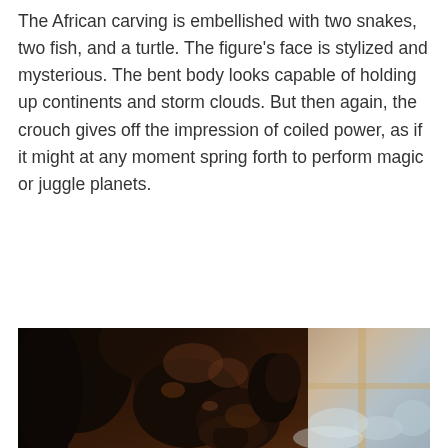The African carving is embellished with two snakes, two fish, and a turtle. The figure's face is stylized and mysterious. The bent body looks capable of holding up continents and storm clouds. But then again, the crouch gives off the impression of coiled power, as if it might at any moment spring forth to perform magic or juggle planets.
[Figure (photo): Close-up photograph of a dark wood African carving/sculpture, showing a bent/crouching figure. The figure is photographed from a low angle near a window with light coming through, and snow-covered trees visible outside. The carving appears to be a muscular figure in a crouched position, with deep brown/dark ebony tones.]